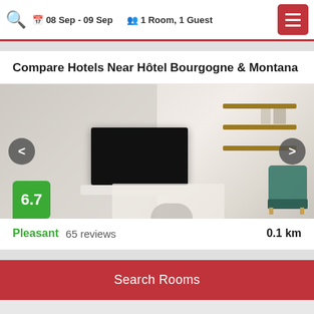08 Sep - 09 Sep   1 Room, 1 Guest
Compare Hotels Near Hôtel Bourgogne & Montana
[Figure (photo): Hotel room interior showing a wall-mounted flat screen TV on a white wall and wooden shelving unit on the right side, with a teal chair in the lower right corner. Score badge showing 6.7 in green.]
Pleasant   65 reviews   0.1 km
Search Rooms